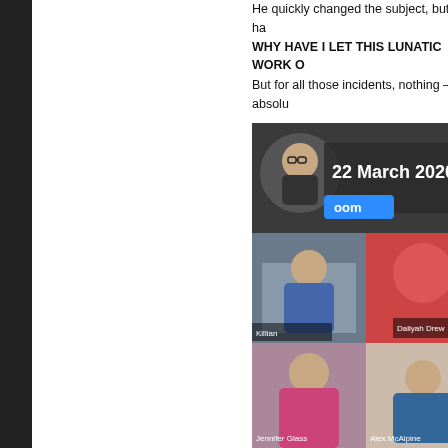He quickly changed the subject, but he had said WHY HAVE I LET THIS LUNATIC WORK O...
But for all those incidents, nothing – absolu...
[Figure (screenshot): Screenshot of a Zoom video call dated 22 March 2020, showing multiple participants in a grid view including a man with glasses in a small circular overlay at top left.]
Do I feel sorry for 'Jennifer'?

Sure. But my god, it made me laugh.

I know for a fact if I was on a zoom call and... say a word.

Not because they would be wishing they w... but because they'd be busy instagramm...

And I don't mind telling you, I'd be very pro...

Then I'd release all the bad instagram pho...